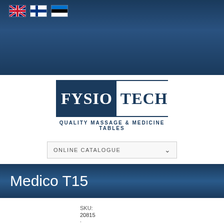[Figure (logo): FysioTech logo with dark blue FYSIO block and white TECH text, tagline QUALITY MASSAGE & MEDICINE TABLES]
[Figure (other): Dropdown selector labeled ONLINE CATALOGUE with chevron arrow]
Medico T15
SKU:
20815